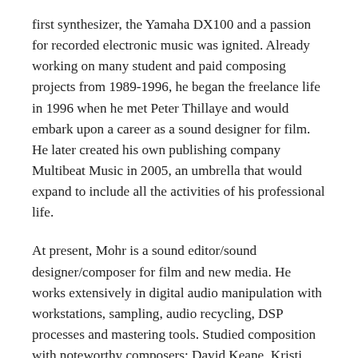first synthesizer, the Yamaha DX100 and a passion for recorded electronic music was ignited. Already working on many student and paid composing projects from 1989-1996, he began the freelance life in 1996 when he met Peter Thillaye and would embark upon a career as a sound designer for film. He later created his own publishing company Multibeat Music in 2005, an umbrella that would expand to include all the activities of his professional life.
At present, Mohr is a sound editor/sound designer/composer for film and new media. He works extensively in digital audio manipulation with workstations, sampling, audio recycling, DSP processes and mastering tools. Studied composition with noteworthy composers: David Keane, Kristi Allik, John Burge, Clifford Crawley, Norman Sherman, Bruno Degazio. (1990-1994). His focus, from 1996-2017, was on sound design for giant screen IMAX films with Thillaye Productions; the resulting credits and awards are extensive. As a composer, his music has forged unique territory, often combining textures and